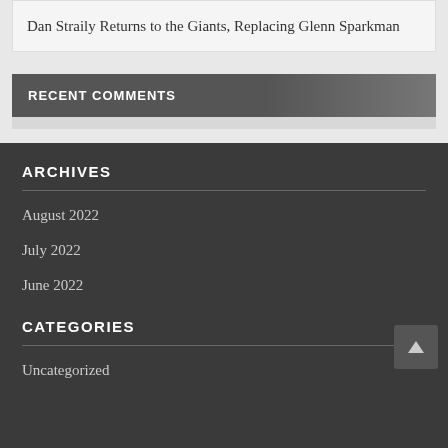Dan Straily Returns to the Giants, Replacing Glenn Sparkman
RECENT COMMENTS
ARCHIVES
August 2022
July 2022
June 2022
CATEGORIES
Uncategorized